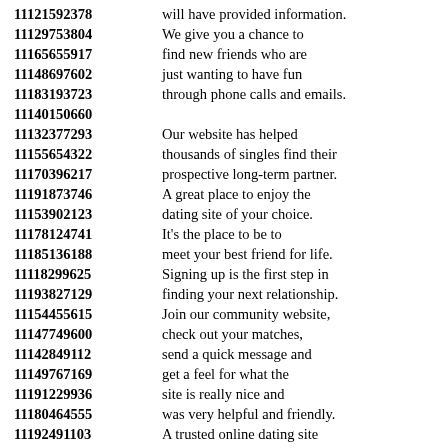11121592378 will have provided information.
11129753804 We give you a chance to
11165655917 find new friends who are
11148697602 just wanting to have fun
11183193723 through phone calls and emails.
11140150660
11132377293 Our website has helped
11155654322 thousands of singles find their
11170396217 prospective long-term partner.
11191873746 A great place to enjoy the
11153902123 dating site of your choice.
11178124741 It's the place to be to
11185136188 meet your best friend for life.
11118299625 Signing up is the first step in
11193827129 finding your next relationship.
11154455615 Join our community website,
11147749600 check out your matches,
11142849112 send a quick message and
11149767169 get a feel for what the
11191229936 site is really nice and
11180464555 was very helpful and friendly.
11192491103 A trusted online dating site
11142804329 for singles looking for love.
11168203967
11140614554 No scam format: